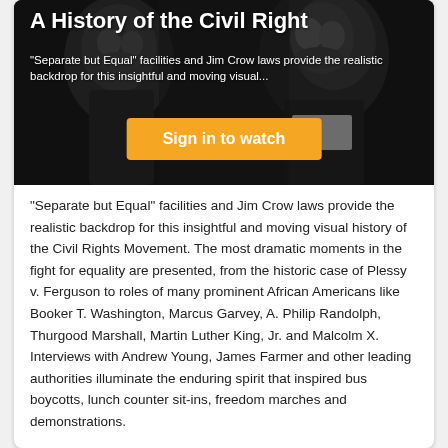[Figure (photo): Black and white photograph showing African American men in close-up, used as hero background image for a Civil Rights documentary video thumbnail. Overlaid with title text, subtitle text, and an orange 'Sign in to watch' button.]
A History of the Civil Right
"Separate but Equal" facilities and Jim Crow laws provide the realistic backdrop for this insightful and moving visual...
Sign in to watch
"Separate but Equal" facilities and Jim Crow laws provide the realistic backdrop for this insightful and moving visual history of the Civil Rights Movement. The most dramatic moments in the fight for equality are presented, from the historic case of Plessy v. Ferguson to roles of many prominent African Americans like Booker T. Washington, Marcus Garvey, A. Philip Randolph, Thurgood Marshall, Martin Luther King, Jr. and Malcolm X. Interviews with Andrew Young, James Farmer and other leading authorities illuminate the enduring spirit that inspired bus boycotts, lunch counter sit-ins, freedom marches and demonstrations.